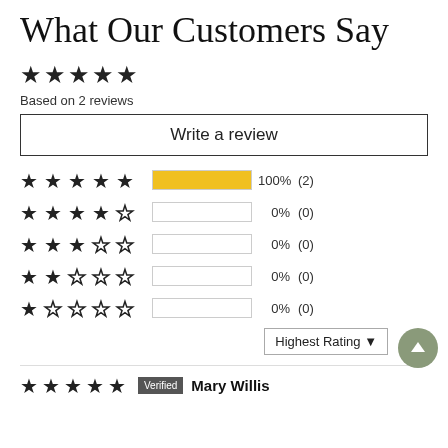What Our Customers Say
[Figure (other): 5 filled gold stars rating display]
Based on 2 reviews
Write a review
[Figure (bar-chart): Star rating breakdown]
Highest Rating ▼
[Figure (other): 5 filled gold stars for reviewer]
Verified
Mary Willis